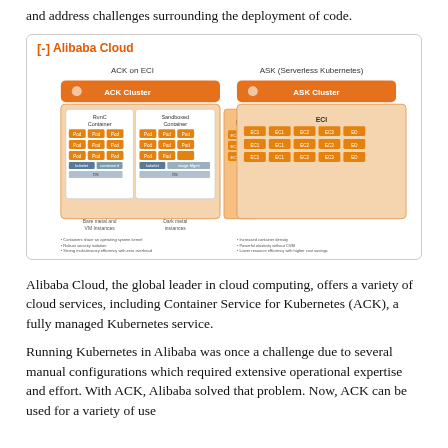and address challenges surrounding the deployment of code.
[Figure (infographic): Alibaba Cloud diagram showing ACK on ECI and ASK (Serverless Kubernetes) architectures with ACK Cluster and ASK Cluster, RunC Container, Sandboxed Container, ECI pods, bare metal and VM instances, and dark metal instances.]
Alibaba Cloud, the global leader in cloud computing, offers a variety of cloud services, including Container Service for Kubernetes (ACK), a fully managed Kubernetes service.
Running Kubernetes in Alibaba was once a challenge due to several manual configurations which required extensive operational expertise and effort. With ACK, Alibaba solved that problem. Now, ACK can be used for a variety of use